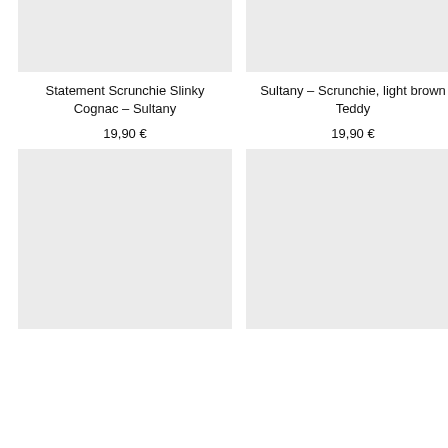[Figure (photo): Product image placeholder for Statement Scrunchie Slinky Cognac – Sultany, light gray background]
Statement Scrunchie Slinky Cognac – Sultany
19,90 €
[Figure (photo): Product image placeholder for Sultany – Scrunchie, light brown Teddy, light gray background]
Sultany – Scrunchie, light brown Teddy
19,90 €
[Figure (photo): Product image placeholder bottom left, light gray background]
[Figure (photo): Product image placeholder bottom right, light gray background]